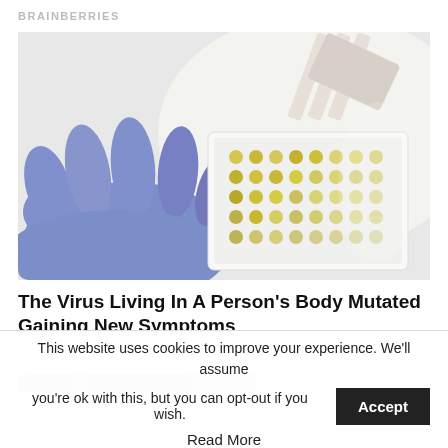BRAINBERRIES
[Figure (photo): A gloved hand in blue latex glove holding a white 96-well laboratory microplate with yellow liquid samples, with a multichannel pipette dispensing into the wells, on a white lab surface.]
The Virus Living In A Person’s Body Mutated Gaining New Symptoms
BRAINBERRIES
[Figure (photo): Partial strip of a second article image, cropped at bottom of visible area.]
This website uses cookies to improve your experience. We'll assume you're ok with this, but you can opt-out if you wish.
Read More